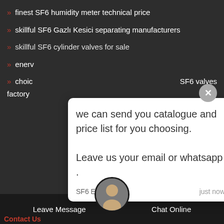finest SF6 humidity meter technical price
skillful SF6 Gazlı Kesici separating manufacturers
skillful SF6 cylinder valves for sale
enerv...
choic... SF6 valves factory
[Figure (screenshot): Chat popup with message: we can send you catalogue and price list for you choosing. Leave us your email or whatsapp . Sender: SF6 Expert, Time: just now]
l170r...
excep...
SF6 fill units pricing
Leave Message   Chat Online   Contact Us